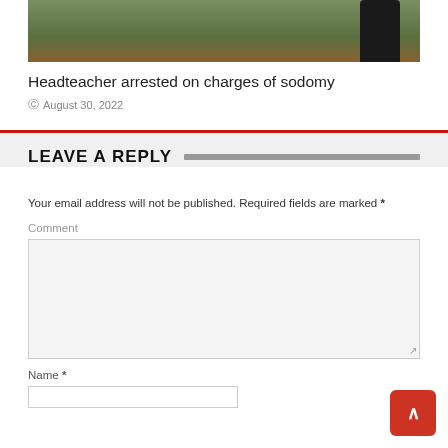[Figure (photo): Partial photo of a person in black clothing walking on grass and dirt ground, cropped at top]
Headteacher arrested on charges of sodomy
August 30, 2022
LEAVE A REPLY
Your email address will not be published. Required fields are marked *
Comment
Name *